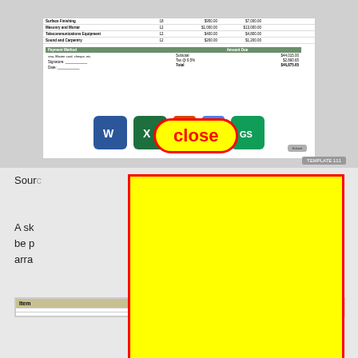[Figure (screenshot): Document invoice template preview showing rows for Surface Finishing, Masonry and Mortar, Telecommunications Equipment, Sound and Carpentry, with Payment Method section and Amount Due showing Subtotal $44,015.00, Tax @ 6.5% $2,860.65, Total $46,875.65. Below the document are Microsoft Word, Excel, PowerPoint, Google Docs, and Google Sheets icons. A large yellow oval 'close' button with red border overlays the icons.]
Source
A sk an be p arra
[Figure (screenshot): Bottom portion of an invoice template showing table rows partially visible]